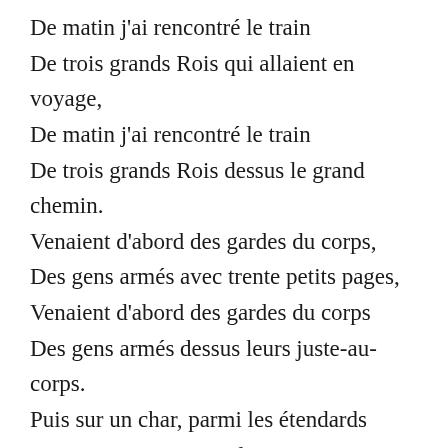De matin j'ai rencontré le train De trois grands Rois qui allaient en voyage, De matin j'ai rencontré le train De trois grands Rois dessus le grand chemin. Venaient d'abord des gardes du corps, Des gens armés avec trente petits pages, Venaient d'abord des gardes du corps Des gens armés dessus leurs juste-au-corps. Puis sur un char, parmi les étendards Venaient trois rois modestes comme d'anges,